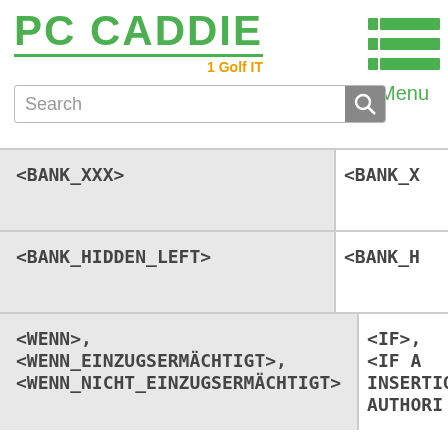[Figure (logo): PC CADDIE Golf IT logo in green]
[Figure (other): Menu icon with green horizontal lines and Menu label]
Search
| German | English |
| --- | --- |
| <BANK_XXX> | <BANK_X |
| <BANK_HIDDEN_LEFT> | <BANK_H |
| <WENN>, <WENN_EINZUGSERMÄCHTIGT>, <WENN_NICHT_EINZUGSERMÄCHTIGT> | <IF>, <IF A INSERTIO AUTHORI |